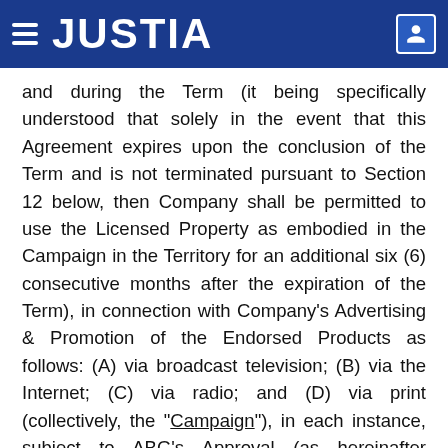JUSTIA
and during the Term (it being specifically understood that solely in the event that this Agreement expires upon the conclusion of the Term and is not terminated pursuant to Section 12 below, then Company shall be permitted to use the Licensed Property as embodied in the Campaign in the Territory for an additional six (6) consecutive months after the expiration of the Term), in connection with Company's Advertising & Promotion of the Endorsed Products as follows: (A) via broadcast television; (B) via the Internet; (C) via radio; and (D) via print (collectively, the "Campaign"), in each instance, subject to ABG's Approval (as hereinafter defined), and subject to the terms, conditions and limitations set forth in this Agreement (collectively, "Endorsement Rights"), it being agreed that, upon the expiration of the Term (and, for the avoidance of doubt, not the termination of the Agreement), (I) the Company may continue to use the